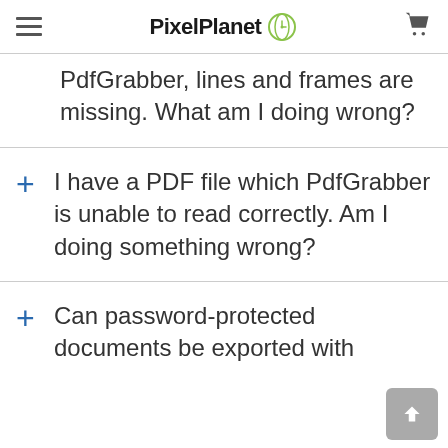PixelPlanet
PdfGrabber, lines and frames are missing. What am I doing wrong?
+ I have a PDF file which PdfGrabber is unable to read correctly. Am I doing something wrong?
+ Can password-protected documents be exported with